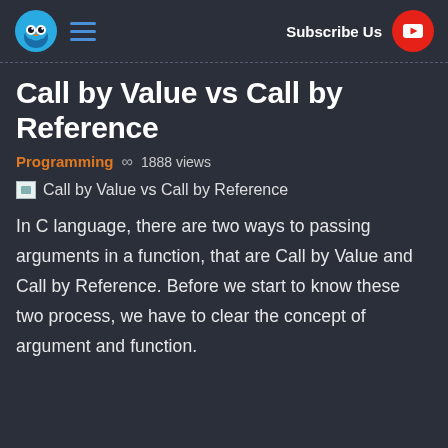Call by Value vs Call by Reference | Subscribe Us
Call by Value vs Call by Reference
Programming ∞ 1888 views
[Figure (illustration): Placeholder image thumbnail for 'Call by Value vs Call by Reference']
Call by Value vs Call by Reference
In C language, there are two ways to passing arguments in a function, that are Call by Value and Call by Reference. Before we start to know these two process, we have to clear the concept of argument and function.